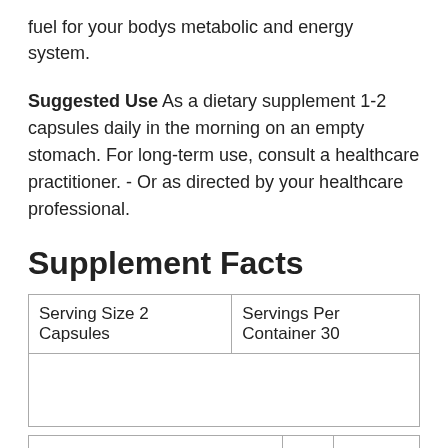fuel for your bodys metabolic and energy system.
Suggested Use As a dietary supplement 1-2 capsules daily in the morning on an empty stomach. For long-term use, consult a healthcare practitioner. - Or as directed by your healthcare professional.
Supplement Facts
| Serving Size 2 Capsules | Servings Per Container 30 |
| --- | --- |
|   |   |
| Amount Per Serving |  | % Daily Value *** |
| --- | --- | --- |